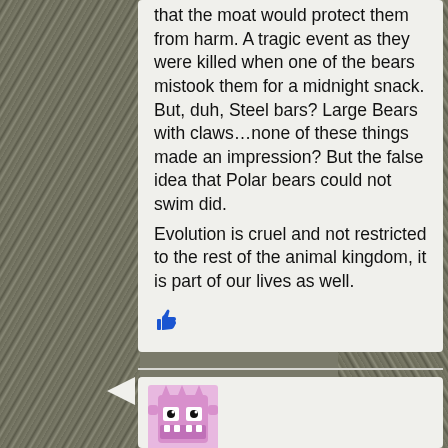that the moat would protect them from harm. A tragic event as they were killed when one of the bears mistook them for a midnight snack. But, duh, Steel bars? Large Bears with claws…none of these things made an impression? But the false idea that Polar bears could not swim did.
Evolution is cruel and not restricted to the rest of the animal kingdom, it is part of our lives as well.
[Figure (illustration): Blue thumbs-up like icon]
[Figure (illustration): Pink monster/robot avatar icon with eyes and teeth for a second commenter]